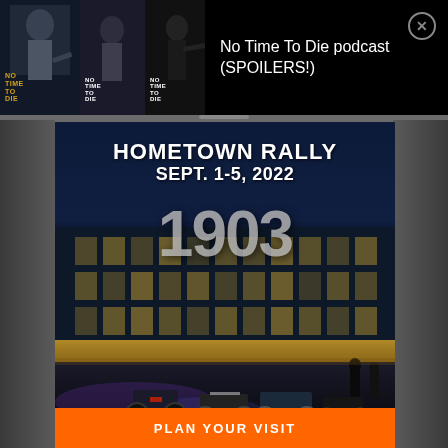[Figure (screenshot): Mobile app screenshot showing a podcast notification for 'No Time To Die podcast (SPOILERS!)' with three James Bond movie poster thumbnails on the left, and a Harley-Davidson Hometown Rally advertisement card showing 'SEPT. 1-5, 2022' with a night photo of a building with motorcycles parked outside, and an orange 'PLAN YOUR VISIT' call-to-action button at the bottom.]
No Time To Die podcast (SPOILERS!)
HOMETOWN RALLY
SEPT. 1-5, 2022
PLAN YOUR VISIT